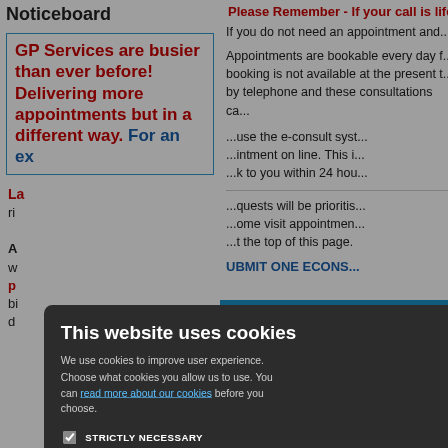Noticeboard
GP Services are busier than ever before! Delivering more appointments but in a different way. For an ex... La... ri...
A... w... p... bi... d...
Please Remember - If your call is life th...
If you do not need an appointment and...
Appointments are bookable every day f... booking is not available at the present t... by telephone and these consultations ca...
...use the e-consult syst... ...intment on line. This i... ...k to you within 24 hou...
...quests will be prioritis... ...ome visit appointmen... ...t the top of this page.
UBMIT ONE ECONS...
ult
dvice from yo... p informatio...
an dministrative re... (such as a sick no...
[Figure (screenshot): Cookie consent modal dialog on a GP surgery website. Dark background modal with title 'This website uses cookies', body text about cookie preferences, a link 'read more about our cookies', checkboxes for STRICTLY NECESSARY (checked), PERFORMANCE, TARGETING, FUNCTIONALITY, and two buttons: ACCEPT ALL (green) and DECLINE ALL (outlined). X close button in top right.]